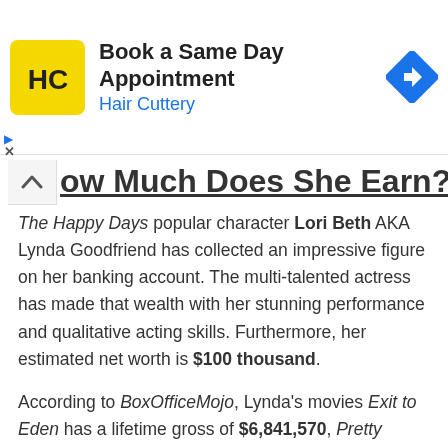[Figure (screenshot): Hair Cuttery advertisement banner with logo, 'Book a Same Day Appointment' text, and navigation arrow icon]
ow Much Does She Earn?
The Happy Days popular character Lori Beth AKA Lynda Goodfriend has collected an impressive figure on her banking account. The multi-talented actress has made that wealth with her stunning performance and qualitative acting skills. Furthermore, her estimated net worth is $100 thousand.
According to BoxOfficeMojo, Lynda's movies Exit to Eden has a lifetime gross of $6,841,570, Pretty Woman has a worldwide collection of $178,406,268 whereas Beaches has a worldwide gross of $57,041,866. Equally, her film Nothing in Common has a worldwide collection of